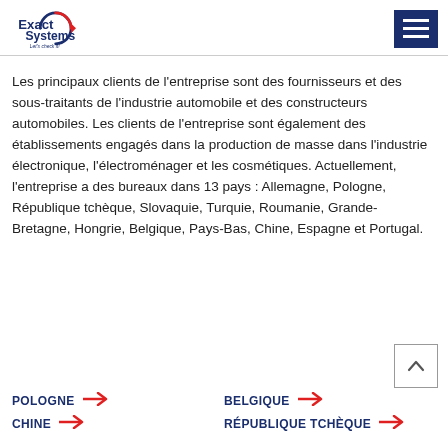[Figure (logo): Exact Systems logo with tagline 'Let's check it!']
Les principaux clients de l'entreprise sont des fournisseurs et des sous-traitants de l'industrie automobile et des constructeurs automobiles. Les clients de l'entreprise sont également des établissements engagés dans la production de masse dans l'industrie électronique, l'électroménager et les cosmétiques. Actuellement, l'entreprise a des bureaux dans 13 pays : Allemagne, Pologne, République tchèque, Slovaquie, Turquie, Roumanie, Grande-Bretagne, Hongrie, Belgique, Pays-Bas, Chine, Espagne et Portugal.
POLOGNE →
BELGIQUE →
CHINE →
RÉPUBLIQUE TCHÈQUE →